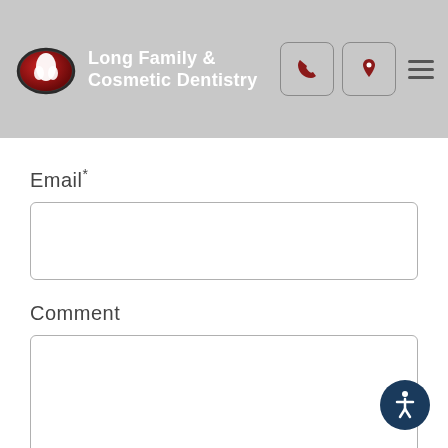[Figure (logo): Long Family & Cosmetic Dentistry logo with oval tooth graphic and white text on gray header background]
Email*
[Figure (screenshot): Empty email input text field with rounded border]
Comment
[Figure (screenshot): Empty comment textarea with rounded border]